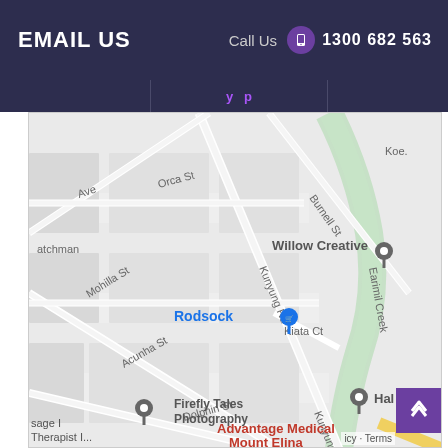EMAIL US
Call Us  1300 682 563
[Figure (map): Google Maps screenshot showing a suburban street map with locations including Rodsock, Willow Creative, Firefly Tales Photography, Advantage Medical Mount Elina, and Halo. Streets shown include Orca St, Mohilla St, Acunha St, Dolphin St, Burnell St, Kunyung Rd, Kiata Ct. Earimil Creek is visible as a green path on the right side.]